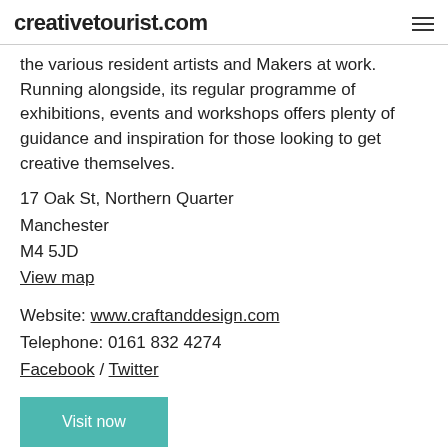creativetourist.com
the various resident artists and Makers at work. Running alongside, its regular programme of exhibitions, events and workshops offers plenty of guidance and inspiration for those looking to get creative themselves.
17 Oak St, Northern Quarter
Manchester
M4 5JD
View map
Website: www.craftanddesign.com
Telephone: 0161 832 4274
Facebook / Twitter
Visit now